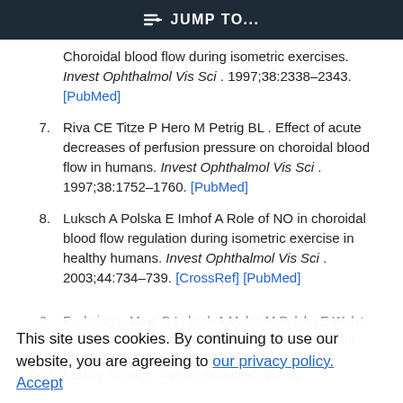JUMP TO...
Choroidal blood flow during isometric exercises. Invest Ophthalmol Vis Sci . 1997;38:2338–2343. [PubMed]
7. Riva CE Titze P Hero M Petrig BL . Effect of acute decreases of perfusion pressure on choroidal blood flow in humans. Invest Ophthalmol Vis Sci . 1997;38:1752–1760. [PubMed]
8. Luksch A Polska E Imhof A Role of NO in choroidal blood flow regulation during isometric exercise in healthy humans. Invest Ophthalmol Vis Sci . 2003;44:734–739. [CrossRef] [PubMed]
9. Fuchsjager-Mayr G Luksch A Malec M Polska E Wolzt and Schmetterer L. Role of endothelin-1 in choroidal blood flow regulation during isometric exercise in healthy humans. Invest Ophthalmol Vis Sci .
This site uses cookies. By continuing to use our website, you are agreeing to our privacy policy. Accept